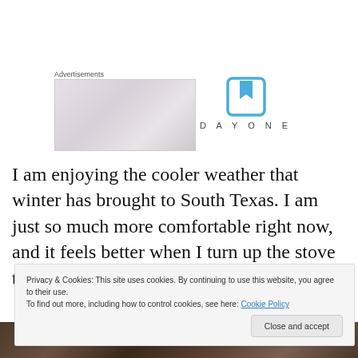Advertisements
[Figure (photo): Advertisement placeholder image with pinkish-gray gradient background]
[Figure (logo): Day One app logo: blue bookmark icon above the text DAYONE in spaced gray caps]
I am enjoying the cooler weather that winter has brought to South Texas. I am just so much more comfortable right now, and it feels better when I turn up the stove to bake or cook something too.
Privacy & Cookies: This site uses cookies. By continuing to use this website, you agree to their use.
To find out more, including how to control cookies, see here: Cookie Policy
[Figure (photo): Bottom strip showing cookies or baked goods, dark brown tones]